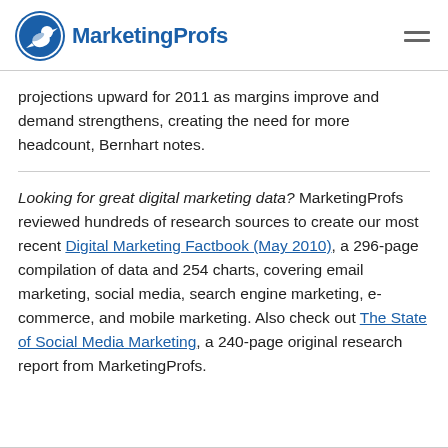MarketingProfs
projections upward for 2011 as margins improve and demand strengthens, creating the need for more headcount, Bernhart notes.
Looking for great digital marketing data? MarketingProfs reviewed hundreds of research sources to create our most recent Digital Marketing Factbook (May 2010), a 296-page compilation of data and 254 charts, covering email marketing, social media, search engine marketing, e-commerce, and mobile marketing. Also check out The State of Social Media Marketing, a 240-page original research report from MarketingProfs.